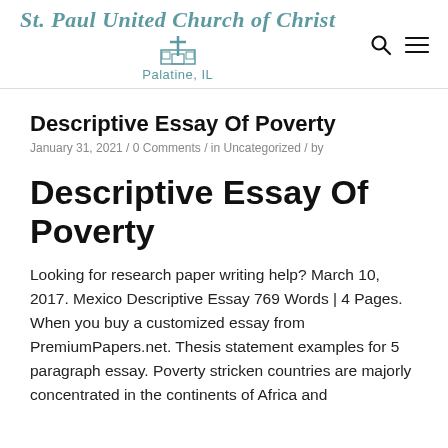St. Paul United Church of Christ
Palatine, IL
Descriptive Essay Of Poverty
January 31, 2021 / 0 Comments / in Uncategorized / by
Descriptive Essay Of Poverty
Looking for research paper writing help? March 10, 2017. Mexico Descriptive Essay 769 Words | 4 Pages. When you buy a customized essay from PremiumPapers.net. Thesis statement examples for 5 paragraph essay. Poverty stricken countries are majorly concentrated in the continents of Africa and